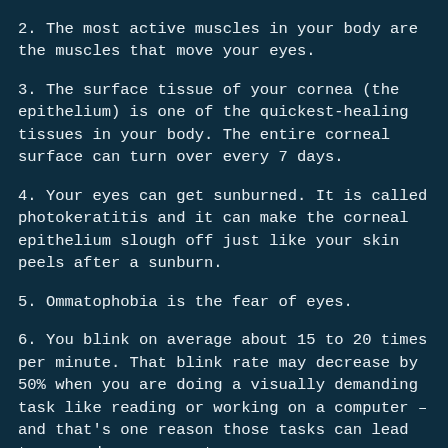2. The most active muscles in your body are the muscles that move your eyes.
3. The surface tissue of your cornea (the epithelium) is one of the quickest-healing tissues in your body. The entire corneal surface can turn over every 7 days.
4. Your eyes can get sunburned. It is called photokeratitis and it can make the corneal epithelium slough off just like your skin peels after a sunburn.
5. Ommatophobia is the fear of eyes.
6. You blink on average about 15 to 20 times per minute. That blink rate may decrease by 50% when you are doing a visually demanding task like reading or working on a computer – and that's one reason those tasks can lead to more dry-eye symptoms.
7. Your retinas see the world upside down, but your brain flips the image around for you.